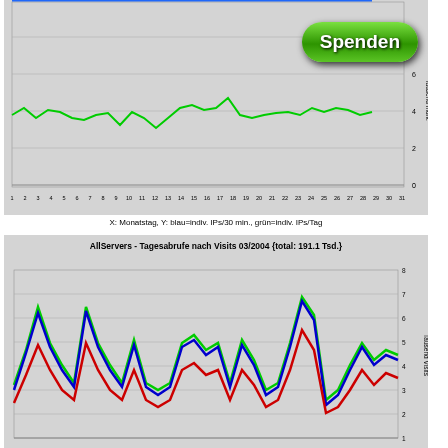[Figure (line-chart): Top chart showing indiv. IPs/30min (blue) and indiv. IPs/Tag (green) by Monatstag. Partially cropped. Contains Spenden button overlay.]
X: Monatstag, Y: blau=indiv. IPs/30 min., grün=indiv. IPs/Tag
[Figure (line-chart): Line chart with three series (green, blue, red) showing daily visits for March 2004. Values range roughly from 1 to 8 Tausend Visits.]